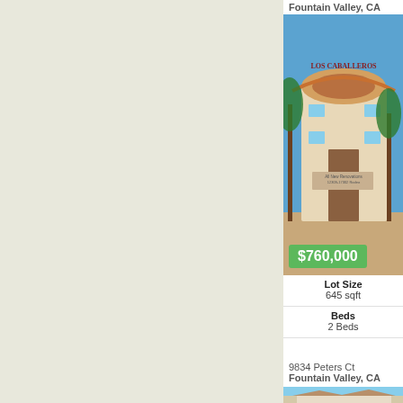Fountain Valley, CA
[Figure (photo): Exterior entrance of Los Caballeros apartment complex with palm trees and Spanish-style architecture, price badge showing $760,000]
$760,000
| Lot Size | 645 sqft |
| Beds | 2 Beds |
9834 Peters Ct
Fountain Valley, CA
[Figure (photo): Partial view of a residential property exterior with tile roof under blue sky with clouds]